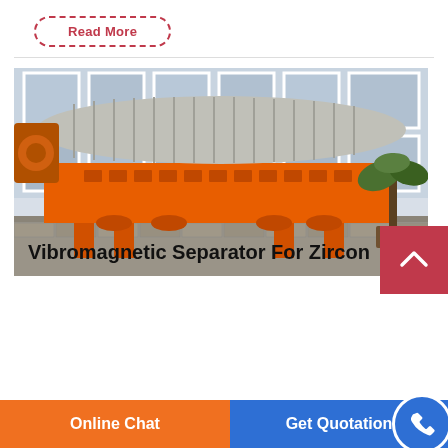Read More
[Figure (photo): Large orange vibromagnetic separator machine with a cylindrical silver drum on top, mounted on an orange steel frame with legs, photographed outdoors in front of a building with large windows and a palm plant visible on the right.]
Vibromagnetic Separator For Zircon
Online Chat
Get Quotation